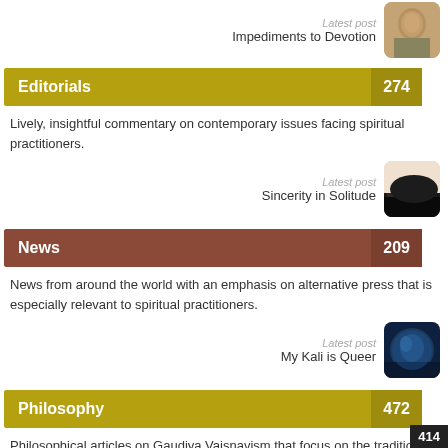Latest post
Impediments to Devotion
Editorials 274
Lively, insightful commentary on contemporary issues facing spiritual practitioners.
Latest post
Sincerity in Solitude
News 209
News from around the world with an emphasis on alternative press that is especially relevant to spiritual practitioners.
Latest post
My Kali is Queer
Philosophy 472
Philosophical articles on Gaudiya Vaisnavism that focus on the tradition's scriptural conclusions as well as its feeling for the